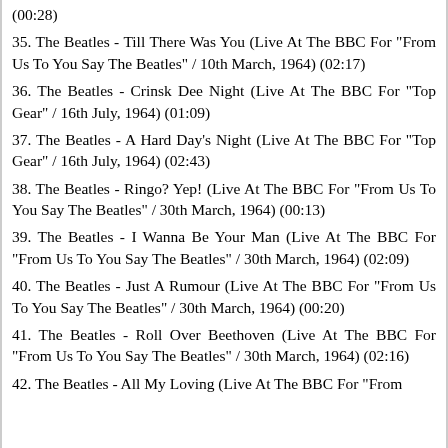(00:28)
35. The Beatles - Till There Was You (Live At The BBC For "From Us To You Say The Beatles" / 10th March, 1964) (02:17)
36. The Beatles - Crinsk Dee Night (Live At The BBC For "Top Gear" / 16th July, 1964) (01:09)
37. The Beatles - A Hard Day's Night (Live At The BBC For "Top Gear" / 16th July, 1964) (02:43)
38. The Beatles - Ringo? Yep! (Live At The BBC For "From Us To You Say The Beatles" / 30th March, 1964) (00:13)
39. The Beatles - I Wanna Be Your Man (Live At The BBC For "From Us To You Say The Beatles" / 30th March, 1964) (02:09)
40. The Beatles - Just A Rumour (Live At The BBC For "From Us To You Say The Beatles" / 30th March, 1964) (00:20)
41. The Beatles - Roll Over Beethoven (Live At The BBC For "From Us To You Say The Beatles" / 30th March, 1964) (02:16)
42. The Beatles - All My Loving (Live At The BBC For "From